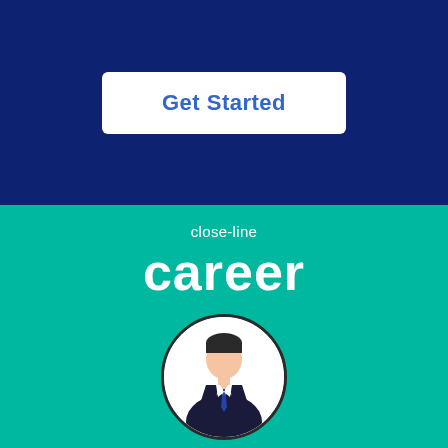[Figure (screenshot): Dark navy blue background section with a white rounded rectangle button containing blue bold text 'Get Started']
close-line
career
[Figure (illustration): Circular avatar icon of a business person in a dark suit with white shirt and tie on a teal background]